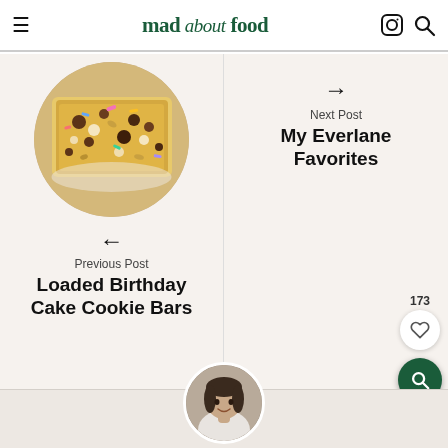mad about food
[Figure (photo): Circular cropped photo of loaded birthday cake cookie bars on parchment paper, showing colorful toppings including sprinkles and chocolate chips]
← Previous Post
Loaded Birthday Cake Cookie Bars
→ Next Post
My Everlane Favorites
173
[Figure (photo): Circular cropped portrait photo of a woman with dark hair smiling, partially visible at bottom of page]